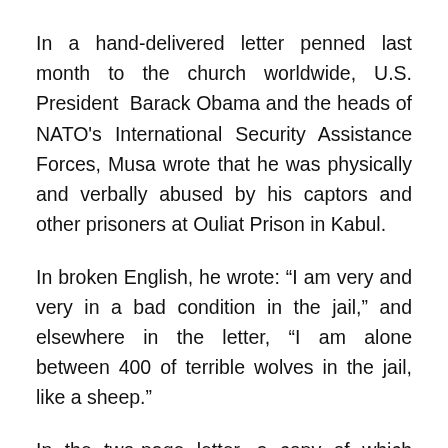In a hand-delivered letter penned last month to the church worldwide, U.S. President Barack Obama and the heads of NATO's International Security Assistance Forces, Musa wrote that he was physically and verbally abused by his captors and other prisoners at Ouliat Prison in Kabul.
In broken English, he wrote: “I am very and very in a bad condition in the jail,” and elsewhere in the letter, “I am alone between 400 of terrible wolves in the jail, like a sheep.”
In the two-page letter, a copy of which Compass received in late October, Musa addressed Obama as “brother” and pleaded with the international community: “For [the] sake [of the] Lord Jesus Christ please pray for me and rescue me from this jail otherwise they will kill me because I know they [have] very very very cruel and hard hearts.”